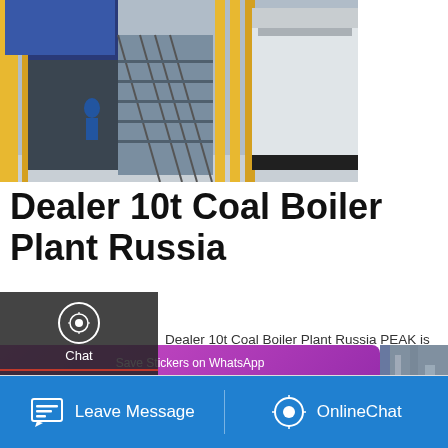[Figure (photo): Industrial coal boiler plant interior showing yellow structural poles, dark machinery, stairs/railing structure, and a white boiler unit on a factory floor]
Dealer 10t Coal Boiler Plant Russia
Dealer 10t Coal Boiler Plant Russia PEAK is founded in 1998, which is a clean fuel boiler enterprise integrating R&D, manufacturing, sales and service.
[Figure (screenshot): Get a Quote button (gold/yellow background) with chat bubble icon]
[Figure (infographic): Save Stickers on WhatsApp promotional banner with green WhatsApp icon and pink emoji icon on purple gradient background]
[Figure (photo): Partial view of another industrial plant interior with pipes and structural elements]
Leave Message   OnlineChat